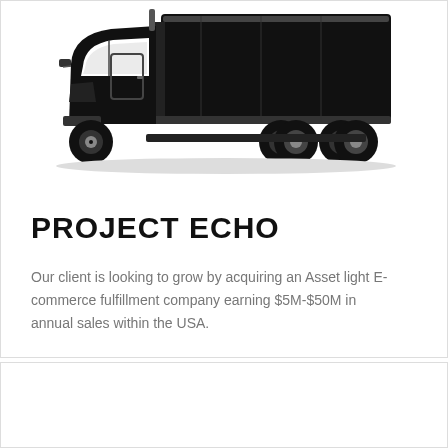[Figure (illustration): Black and white silhouette illustration of a large semi-truck / freight truck facing slightly left, with cab and trailer visible.]
PROJECT ECHO
Our client is looking to grow by acquiring an Asset light E-commerce fulfillment company earning $5M-$50M in annual sales within the USA.